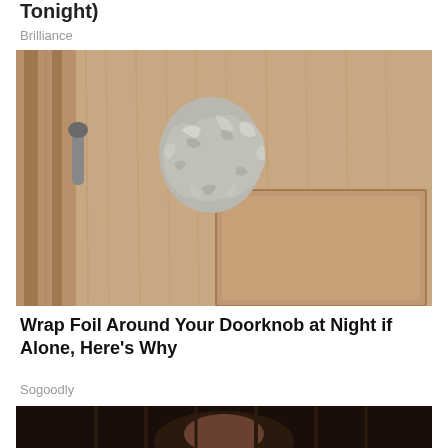Tonight)
Brilliance
[Figure (photo): A door knob wrapped in aluminum foil on a wooden door]
Wrap Foil Around Your Doorknob at Night if Alone, Here's Why
Sogoodly
[Figure (photo): Partial view of a person's head at bottom of page]